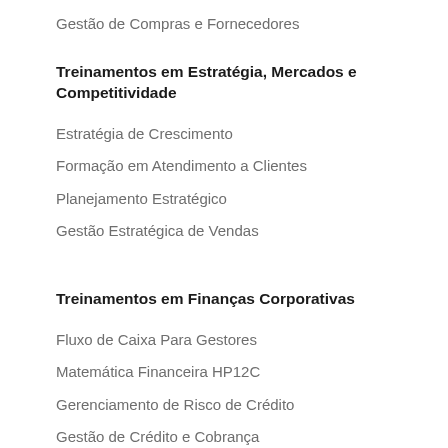Gestão de Compras e Fornecedores
Treinamentos em Estratégia, Mercados e Competitividade
Estratégia de Crescimento
Formação em Atendimento a Clientes
Planejamento Estratégico
Gestão Estratégica de Vendas
Treinamentos em Finanças Corporativas
Fluxo de Caixa Para Gestores
Matemática Financeira HP12C
Gerenciamento de Risco de Crédito
Gestão de Crédito e Cobrança
Treinamentos em Segurança do Trabalho